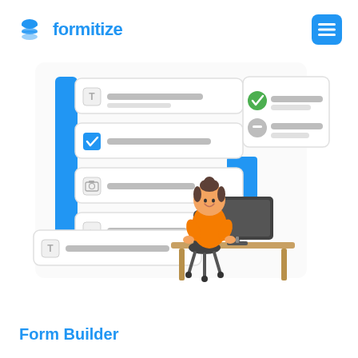formitize
[Figure (illustration): A woman sitting at a desk with a computer, surrounded by form builder UI elements (text fields, checkboxes, image fields) and a blue sidebar panel, representing a digital form building interface.]
Form Builder